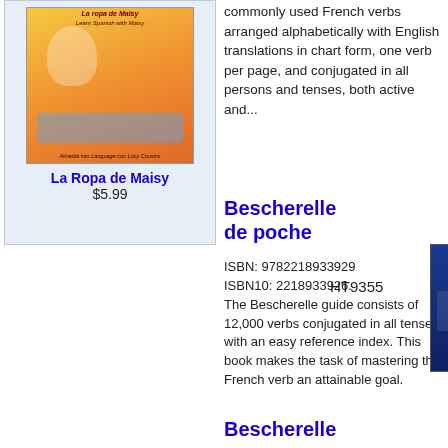[Figure (illustration): Book cover for La Ropa de Maisy with a cartoon mouse character]
La Ropa de Maisy
$5.99
commonly used French verbs arranged alphabetically with English translations in chart form, one verb per page, and conjugated in all persons and tenses, both active and...
Bescherelle de poche
ISBN: 9782218933929
ISBN10: 2218933926.
The Bescherelle guide consists of 12,000 verbs conjugated in all tenses with an easy reference index. This book makes the task of mastering the French verb an attainable goal.
HT9355
[Figure (photo): Book cover for Bescherelle poche conjugaison, dark blue cover with colorful text]
Bescherelle